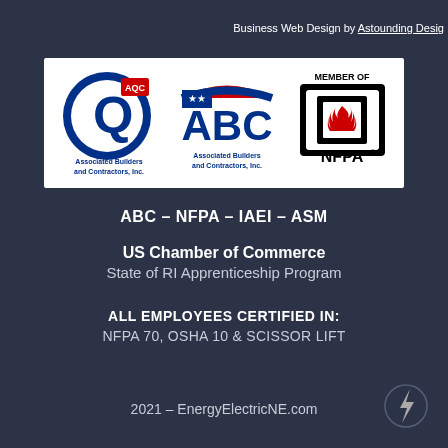Business Web Design by Astounding Design
[Figure (logo): Three organizational logos: AQC Associated Builders and Contractors Inc. (Q logo), ABC Associated Builders and Contractors Inc. (ABC with American flag), and NFPA Member Of logo with flame symbol]
ABC – NFPA – IAEI – ASM
US Chamber of Commerce
State of RI Apprenticeship Program
ALL EMPLOYEES CERTIFIED IN:
NFPA 70, OSHA 10 & SCISSOR LIFT
2021 – EnergyElectricNE.com